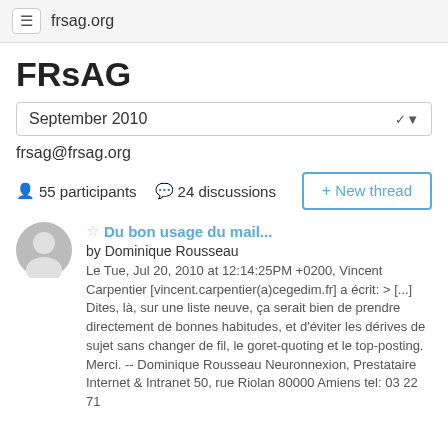frsag.org
FRsAG
September 2010
frsag@frsag.org
55 participants   24 discussions
+ New thread
Du bon usage du mail...
by Dominique Rousseau
Le Tue, Jul 20, 2010 at 12:14:25PM +0200, Vincent Carpentier [vincent.carpentier(a)cegedim.fr] a écrit: > [...] Dites, là, sur une liste neuve, ça serait bien de prendre directement de bonnes habitudes, et d'éviter les dérives de sujet sans changer de fil, le goret-quoting et le top-posting. Merci. -- Dominique Rousseau Neuronnexion, Prestataire Internet & Intranet 50, rue Riolan 80000 Amiens tel: 03 22 71